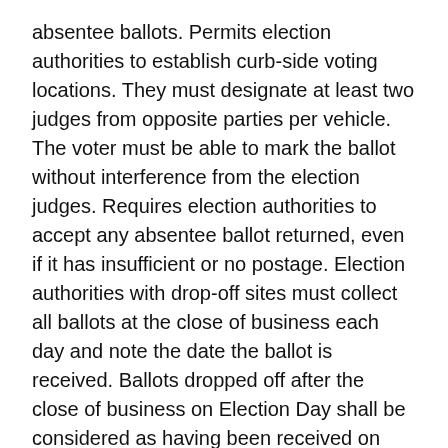absentee ballots. Permits election authorities to establish curb-side voting locations. They must designate at least two judges from opposite parties per vehicle. The voter must be able to mark the ballot without interference from the election judges. Requires election authorities to accept any absentee ballot returned, even if it has insufficient or no postage. Election authorities with drop-off sites must collect all ballots at the close of business each day and note the date the ballot is received. Ballots dropped off after the close of business on Election Day shall be considered as having been received on Election Day.
Cannabis Taxes (HB 2415): Provides that if a county passed an ordinance imposing a recreational cannabis sales tax on or before Oct. 1, 2020, and filed a certified copy of the ordinance with the Illinois Department of Revenue on or before Nov. 1, 2020, the Illinois Department of Revenue